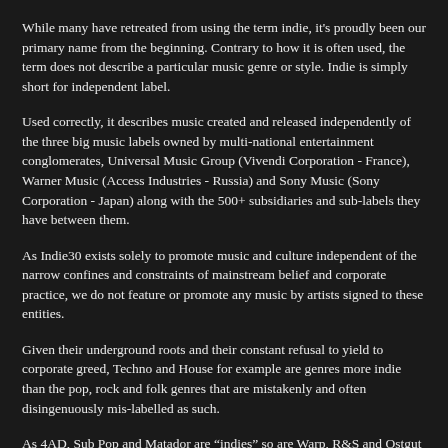While many have retreated from using the term indie, it's proudly been our primary name from the beginning. Contrary to how it is often used, the term does not describe a particular music genre or style. Indie is simply short for independent label.
Used correctly, it describes music created and released independently of the three big music labels owned by multi-national entertainment conglomerates, Universal Music Group (Vivendi Corporation - France), Warner Music (Access Industries - Russia) and Sony Music (Sony Corporation - Japan) along with the 500+ subsidiaries and sub-labels they have between them.
As Indie30 exists solely to promote music and culture independent of the narrow confines and constraints of mainstream belief and corporate practice, we do not feature or promote any music by artists signed to these entities.
Given their underground roots and their constant refusal to yield to corporate greed, Techno and House for example are genres more indie than the pop, rock and folk genres that are mistakenly and often disingenuously mis-labelled as such.
As 4AD, Sub Pop and Matador are “indies” so are Warp, R&S and Ostgut Ton.